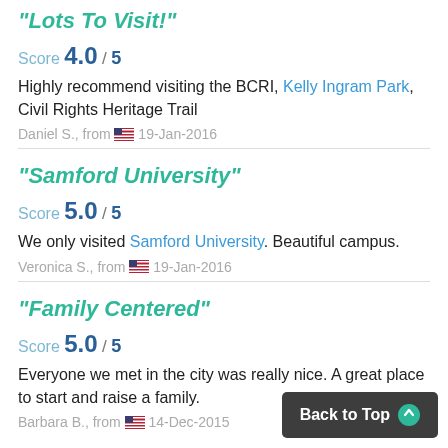"Lots To Visit!"
Score 4.0 / 5
Highly recommend visiting the BCRI, Kelly Ingram Park, Civil Rights Heritage Trail
Daniel S., from 🇺🇸 19-Jan-2016
"Samford University"
Score 5.0 / 5
We only visited Samford University. Beautiful campus.
Veronica S., from 🇺🇸 19-Jan-2016
"Family Centered"
Score 5.0 / 5
Everyone we met in the city was really nice. A great place to start and raise a family.
Barbara B., from 🇺🇸 14-Dec-2015